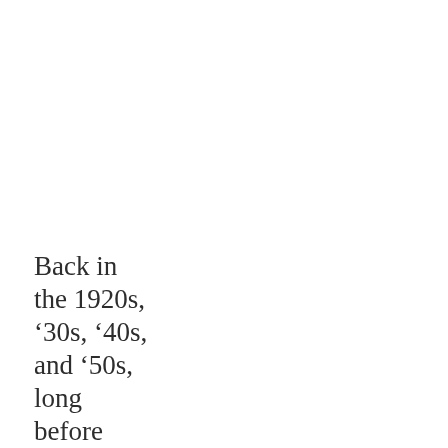Back in the 1920s, ’30s, ’40s, and ’50s, long before